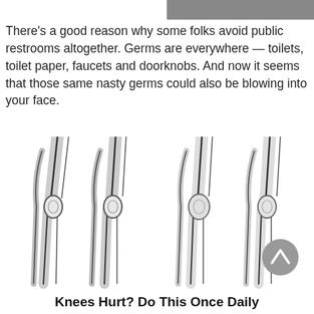[Figure (photo): Partial top image, gray/dark, cropped at top of page on the right side]
There’s a good reason why some folks avoid public restrooms altogether. Germs are everywhere — toilets, toilet paper, faucets and doorknobs. And now it seems that those same nasty germs could also be blowing into your face.
[Figure (illustration): Four illustrations of human knee joints side by side, showing different knee angles and anatomy in black and white sketch style, with a circular gray scroll-to-top button overlaid at the bottom right]
Knees Hurt? Do This Once Daily